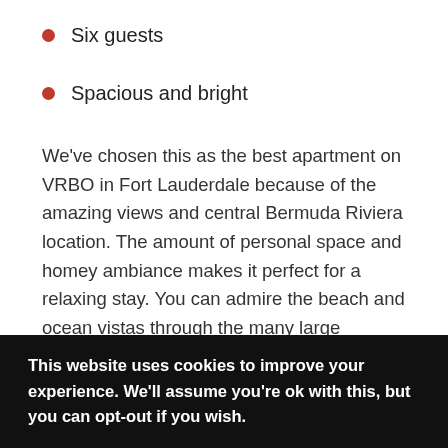Six guests
Spacious and bright
We've chosen this as the best apartment on VRBO in Fort Lauderdale because of the amazing views and central Bermuda Riviera location. The amount of personal space and homey ambiance makes it perfect for a relaxing stay. You can admire the beach and ocean vistas through the many large windows, and sit on the enclosed balcony to watch the world go by.
This website uses cookies to improve your experience. We'll assume you're ok with this, but you can opt-out if you wish.